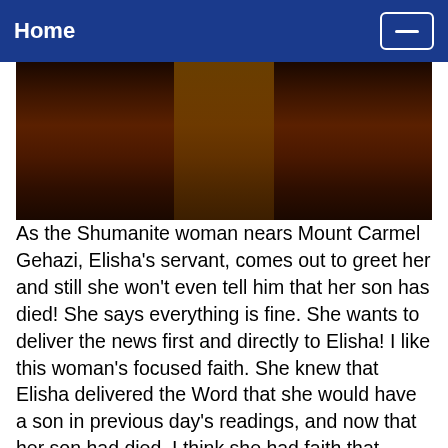Home
[Figure (photo): Dark reddish-brown photograph, likely depicting a biblical scene near Mount Carmel, showing a figure or animal in low light.]
As the Shumanite woman nears Mount Carmel Gehazi, Elisha's servant, comes out to greet her and still she won't even tell him that her son has died!  She says everything is fine.  She wants to deliver the news first and directly to Elisha!  I like this woman's focused faith.  She knew that Elisha delivered the Word that she would have a son in previous day's readings, and now that her son had died, I think she had faith that Elisha, being a prophet in relationship with God, would be able to revive her son.  Do you have a focused faith like this when it comes to your relationship with God and Jesus?  Do you always take your problems directly to the One who can truly revive you?  Below is an image of Elisha and the Shumanite woman...artist G.F.V...